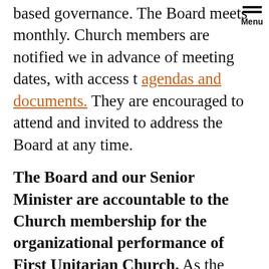based governance. The Board meets monthly. Church members are notified we in advance of meeting dates, with access t agendas and documents. They are encouraged to attend and invited to address the Board at any time.
The Board and our Senior Minister are accountable to the Church membership for the organizational performance of First Unitarian Church. As the Church's religious and operational leader, the Senior Minister oversees Church staff and reports monthly to the Board of Trustees. The Senior Minister, staff, Board, and church membership constitute a partnership in the